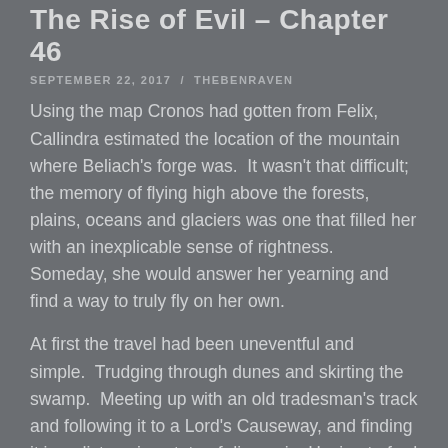The Rise of Evil – Chapter 46
SEPTEMBER 22, 2017 / THEBENRAVEN
Using the map Cronos had gotten from Felix, Callindra estimated the location of the mountain where Beliach's forge was.  It wasn't that difficult; the memory of flying high above the forests, plains, oceans and glaciers was one that filled her with an inexplicable sense of rightness.  Someday, she would answer her yearning and find a way to truly fly on her own.
At first the travel had been uneventful and simple.  Trudging through dunes and skirting the swamp.  Meeting up with an old tradesman's track and following it to a Lord's Causeway, and finding it in a distressing state of disrepair.  Having to ford a river where the bridge had been destroyed was a setback, but it only